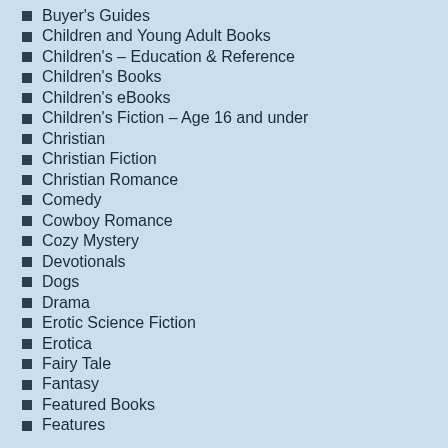Buyer's Guides
Children and Young Adult Books
Children's – Education & Reference
Children's Books
Children's eBooks
Children's Fiction – Age 16 and under
Christian
Christian Fiction
Christian Romance
Comedy
Cowboy Romance
Cozy Mystery
Devotionals
Dogs
Drama
Erotic Science Fiction
Erotica
Fairy Tale
Fantasy
Featured Books
Features